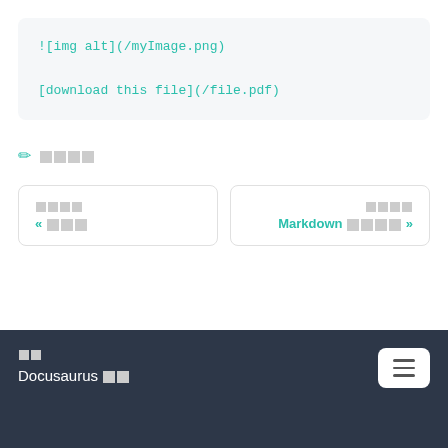![img alt](/myImage.png)
[download this file](/file.pdf)
✏ □□□□
« □□□
Markdown □□□□ »
□□
Docusaurus □□